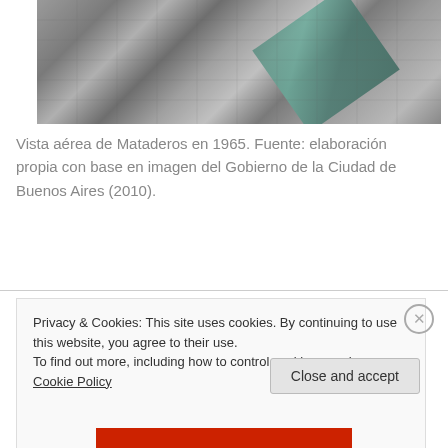[Figure (photo): Aerial black-and-white photograph of the Mataderos neighborhood in Buenos Aires taken in 1965, showing a grid of city blocks with a diagonal teal-highlighted strip running through the image.]
Vista aérea de Mataderos en 1965. Fuente: elaboración propia con base en imagen del Gobierno de la Ciudad de Buenos Aires (2010).
13.03.2018
Privacy & Cookies: This site uses cookies. By continuing to use this website, you agree to their use.
To find out more, including how to control cookies, see here: Cookie Policy